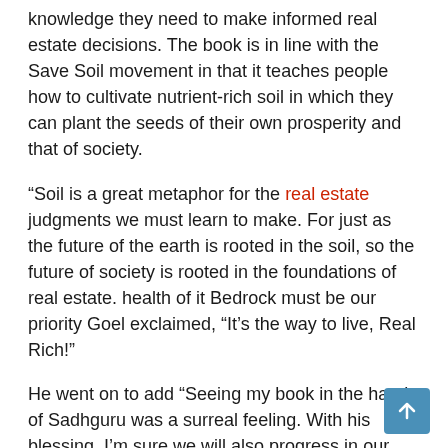knowledge they need to make informed real estate decisions. The book is in line with the Save Soil movement in that it teaches people how to cultivate nutrient-rich soil in which they can plant the seeds of their own prosperity and that of society.
“Soil is a great metaphor for the real estate judgments we must learn to make. For just as the future of the earth is rooted in the soil, so the future of society is rooted in the foundations of real estate. health of it Bedrock must be our priority Goel exclaimed, “It’s the way to live, Real Rich!”
He went on to add “Seeing my book in the hands of Sadhguru was a surreal feeling. With his blessing, I’m sure we will also progress in our mission – to create a society that makes powerful real estate decisions so that everyone can live really rich!”
This story is provided by PNN. ANI shall in no way be responsible for the content of this article. (ANI/PNN)